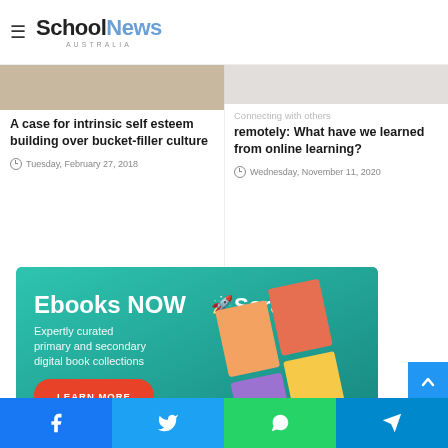School News Australia
A case for intrinsic self esteem building over bucket-filler culture
Tuesday, February 27, 2018
Connecting with others remotely: What have we learned from online learning?
Wednesday, November 11, 2020
[Figure (screenshot): Sora Ebooks NOW advertisement banner on teal background with book covers and LEARN MORE button]
Social sharing bar with Facebook, Twitter, WhatsApp, Telegram buttons